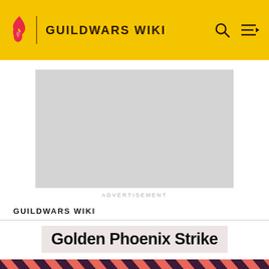GUILDWARS WIKI
[Figure (screenshot): Advertisement placeholder — grey rectangle]
ADVERTISEMENT
GUILDWARS WIKI
Golden Phoenix Strike
[Figure (photo): Background: diagonal salmon/dark-purple stripes with a character figure in foreground]